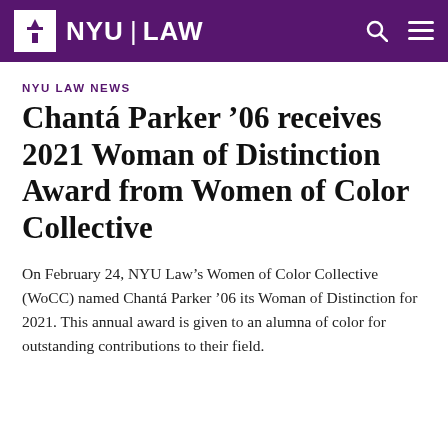NYU LAW
NYU LAW NEWS
Chantá Parker '06 receives 2021 Woman of Distinction Award from Women of Color Collective
On February 24, NYU Law's Women of Color Collective (WoCC) named Chantá Parker '06 its Woman of Distinction for 2021. This annual award is given to an alumna of color for outstanding contributions to their field.